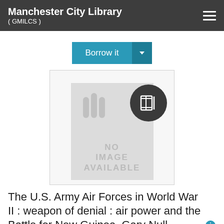Manchester City Library
( GMILCS )
[Figure (screenshot): Borrow it button with teal background and dropdown arrow]
[Figure (illustration): Book placeholder image showing NO IMAGE AVAILABLE with grey background and a dark circular book icon badge overlay]
The U.S. Army Air Forces in World War II : weapon of denial : air power and the Battle for New Guinea, Gary Null
Creator